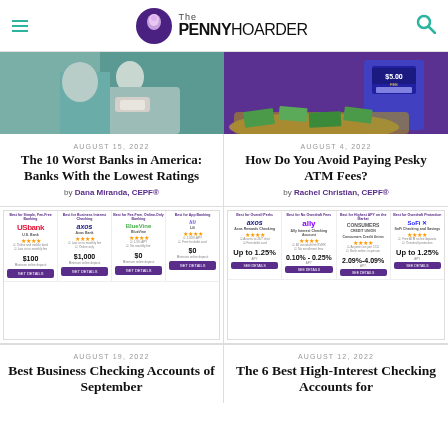The PENNY HOARDER
[Figure (photo): Person handling paper/cash item, teal clothing]
AUGUST 15, 2022
The 10 Worst Banks in America: Banks With the Lowest Ratings
by Dana Miranda, CEPF®
[Figure (photo): ATM machine with $5.00 FEE sign, money scattered around it on purple background]
AUGUST 4, 2022
How Do You Avoid Paying Pesky ATM Fees?
by Rachel Christian, CEPF®
[Figure (screenshot): Best checking accounts comparison table with US Bank, Axos Bank, BlueVine, Li logos and ratings]
[Figure (screenshot): Best high-interest checking accounts comparison table with Axos, Ally, Consumers Credit Union, SoFi logos]
AUGUST 19, 2022
Best Business Checking Accounts of September
AUGUST 12, 2022
The 6 Best High-Interest Checking Accounts for